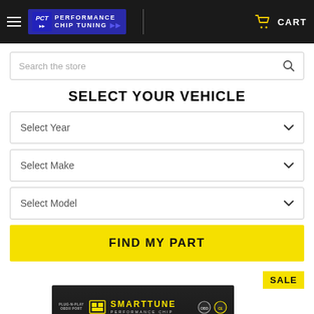Performance Chip Tuning — CART
Search the store
SELECT YOUR VEHICLE
Select Year
Select Make
Select Model
FIND MY PART
[Figure (screenshot): SmartTune Performance Chip product box shown at bottom of page with SALE badge]
SALE